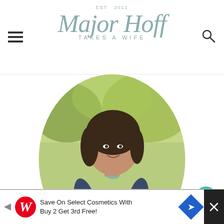Major Hoff Takes a Wife — EST 2011
[Figure (photo): Circular profile photo of a woman in a navy blue shirt holding a red and white checkered book/binder, smiling outdoors with green foliage background]
About MrsMajHoff
A great adventure, a good book, a daily stroll & inspiring people. I share
[Figure (infographic): What's Next widget showing thumbnail images and text: Guest Posting Today at The...]
[Figure (infographic): Advertisement bar: Save On Select Cosmetics With Buy 2 Get 3rd Free! (Walgreens)]